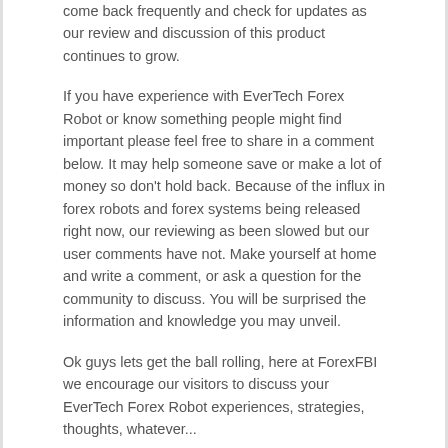come back frequently and check for updates as our review and discussion of this product continues to grow.
If you have experience with EverTech Forex Robot or know something people might find important please feel free to share in a comment below. It may help someone save or make a lot of money so don't hold back. Because of the influx in forex robots and forex systems being released right now, our reviewing as been slowed but our user comments have not. Make yourself at home and write a comment, or ask a question for the community to discuss. You will be surprised the information and knowledge you may unveil.
Ok guys lets get the ball rolling, here at ForexFBI we encourage our visitors to discuss your EverTech Forex Robot experiences, strategies, thoughts, whatever...